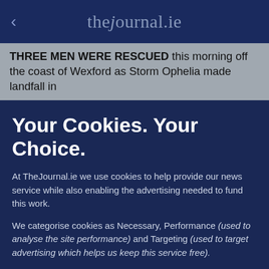< thejournal.ie
THREE MEN WERE RESCUED this morning off the coast of Wexford as Storm Ophelia made landfall in
Your Cookies. Your Choice.
At TheJournal.ie we use cookies to help provide our news service while also enabling the advertising needed to fund this work.
We categorise cookies as Necessary, Performance (used to analyse the site performance) and Targeting (used to target advertising which helps us keep this service free).
You can choose to 'accept all' cookies below or to only opt in to what you are happy to accept using 'manage cookies'. You can also change your cookie settings at any time and learn more about how we use cookies in our Privacy Policy.